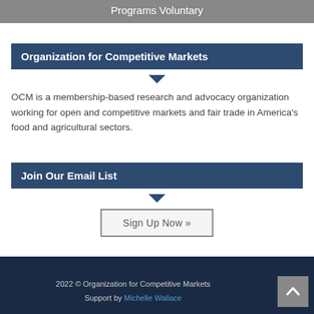Programs Voluntary
Organization for Competitive Markets
OCM is a membership-based research and advocacy organization working for open and competitive markets and fair trade in America's food and agricultural sectors.
Join Our Email List
Sign Up Now »
2022 © Organization for Competitive Markets
Support by Michelle Wallace